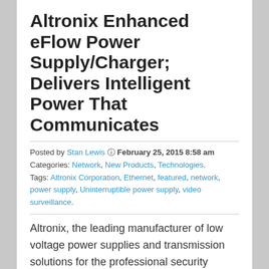Altronix Enhanced eFlow Power Supply/Charger; Delivers Intelligent Power That Communicates
Posted by Stan Lewis  February 25, 2015 8:58 am Categories: Network, New Products, Technologies. Tags: Altronix Corporation, Ethernet, featured, network, power supply, Uninterruptible power supply, video surveillance.
Altronix, the leading manufacturer of low voltage power supplies and transmission solutions for the professional security industry, introduces its new enhanced eFlow power supply/chargers with 30 to 50% faster battery charging and new communication capabilities. eFlow models are now available and compatible with